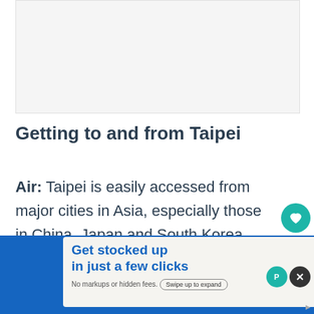[Figure (photo): Large image placeholder at the top of the page (light grey area)]
Getting to and from Taipei
Air: Taipei is easily accessed from major cities in Asia, especially those in China, Japan and South Korea.
From outside of Asia the chances are you will
[Figure (infographic): Advertisement overlay: 'Get stocked up in just a few clicks. No markups or hidden fees.' with 'Swipe up to expand' button on blue background]